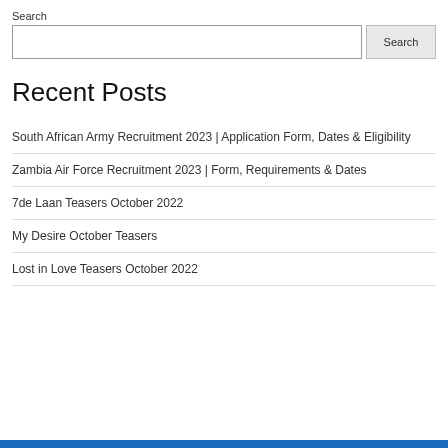Search
Recent Posts
South African Army Recruitment 2023 | Application Form, Dates & Eligibility
Zambia Air Force Recruitment 2023 | Form, Requirements & Dates
7de Laan Teasers October 2022
My Desire October Teasers
Lost in Love Teasers October 2022